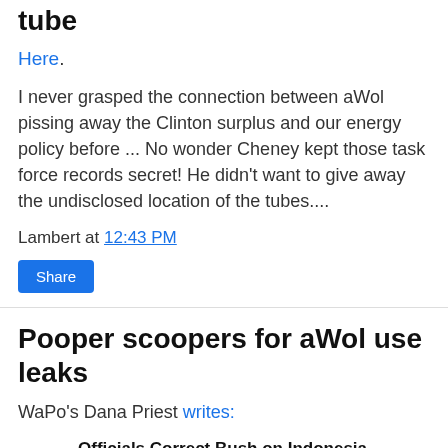tube
Here.
I never grasped the connection between aWol pissing away the Clinton surplus and our energy policy before ... No wonder Cheney kept those task force records secret! He didn't want to give away the undisclosed location of the tubes....
Lambert at 12:43 PM
Share
Pooper scoopers for aWol use leaks
WaPo's Dana Priest writes:
Officials Correct Bush on Indonesia
President Bush misspoke when he said last